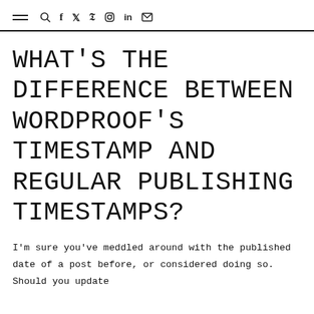≡ 🔍 f 𝕏 𝗣 ⊙ in ✉
WHAT'S THE DIFFERENCE BETWEEN WORDPROOF'S TIMESTAMP AND REGULAR PUBLISHING TIMESTAMPS?
I'm sure you've meddled around with the published date of a post before, or considered doing so. Should you update